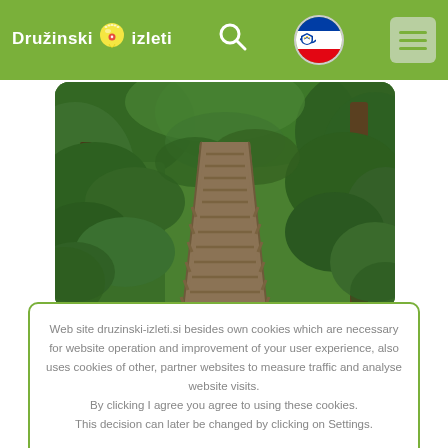Družinski izleti — navigation bar with logo, search icon, Slovenian flag, and hamburger menu
[Figure (photo): Outdoor forest path with wooden boardwalk/stairs descending through lush green vegetation and trees]
Web site druzinski-izleti.si besides own cookies which are necessary for website operation and improvement of your user experience, also uses cookies of other, partner websites to measure traffic and analyse website visits.
By clicking I agree you agree to using these cookies.
This decision can later be changed by clicking on Settings.
Ok
Settings
More about cookies